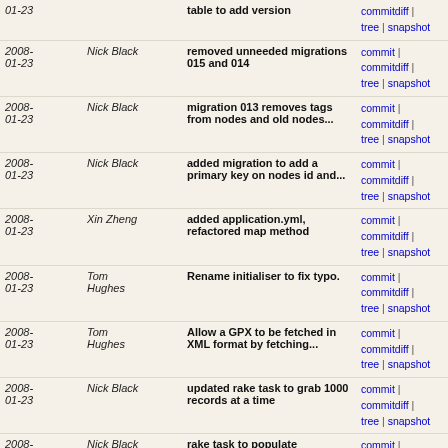| Date | Author | Message | Links |
| --- | --- | --- | --- |
| 2008-01-23 |  | table to add version | commitdiff | tree | snapshot |
| 2008-01-23 | Nick Black | removed unneeded migrations 015 and 014 | commit | commitdiff | tree | snapshot |
| 2008-01-23 | Nick Black | migration 013 removes tags from nodes and old nodes... | commit | commitdiff | tree | snapshot |
| 2008-01-23 | Nick Black | added migration to add a primary key on nodes id and... | commit | commitdiff | tree | snapshot |
| 2008-01-23 | Xin Zheng | added application.yml, refactored map method | commit | commitdiff | tree | snapshot |
| 2008-01-23 | Tom Hughes | Rename initialiser to fix typo. | commit | commitdiff | tree | snapshot |
| 2008-01-23 | Tom Hughes | Allow a GPX to be fetched in XML format by fetching... | commit | commitdiff | tree | snapshot |
| 2008-01-23 | Nick Black | updated rake task to grab 1000 records at a time | commit | commitdiff | tree | snapshot |
| 2008-01-23 | Nick Black | rake task to populate node_tags and current_node_tags... | commit | commitdiff | tree | snapshot |
| 2008-01-23 | Nick Black | adds two migrations to create old_node_tags and node_ta... | commit | commitdiff | tree | snapshot |
| 2008-01-23 | Tom Hughes | You need at least version 0.9.1 of the composite keys... | commit | commitdiff | tree | snapshot |
| 2008-01-23 | Tom Hughes | Make things work with multipart keys. | commit | commitdiff | tree | snapshot |
| 2008-01-23 | Richard Fairhurst | few bits of tidying | commit | commitdiff | tree | snapshot |
| 2008-01-23 | Tom Hughes | Send UK postcode searches to the namefinder as well... | commit | commitdiff | tree | snapshot |